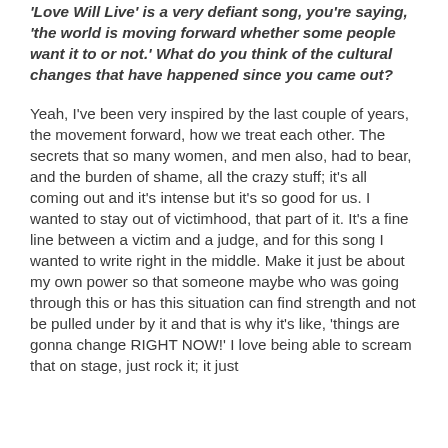'Love Will Live' is a very defiant song, you're saying, 'the world is moving forward whether some people want it to or not.' What do you think of the cultural changes that have happened since you came out?
Yeah, I've been very inspired by the last couple of years, the movement forward, how we treat each other. The secrets that so many women, and men also, had to bear, and the burden of shame, all the crazy stuff; it's all coming out and it's intense but it's so good for us. I wanted to stay out of victimhood, that part of it. It's a fine line between a victim and a judge, and for this song I wanted to write right in the middle. Make it just be about my own power so that someone maybe who was going through this or has this situation can find strength and not be pulled under by it and that is why it's like, 'things are gonna change RIGHT NOW!' I love being able to scream that on stage, just rock it; it just